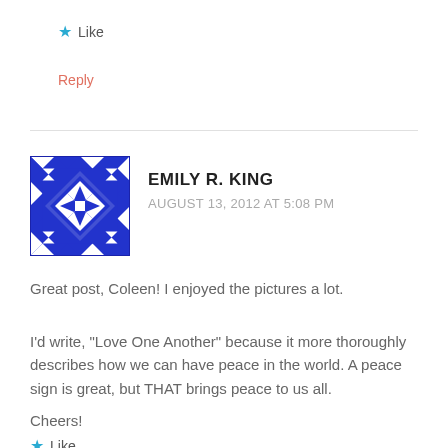★ Like
Reply
EMILY R. KING — AUGUST 13, 2012 AT 5:08 PM
[Figure (illustration): Blue and white geometric quilt pattern avatar for Emily R. King]
Great post, Coleen! I enjoyed the pictures a lot.
I'd write, "Love One Another" because it more thoroughly describes how we can have peace in the world. A peace sign is great, but THAT brings peace to us all.
Cheers!
★ Like